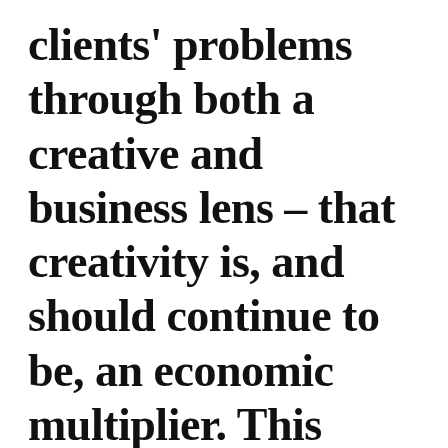clients' problems through both a creative and business lens – that creativity is, and should continue to be, an economic multiplier. This belief is more important now